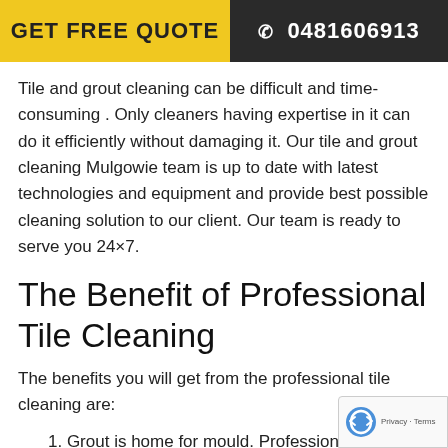GET FREE QUOTE  ☎ 0481606913
Tile and grout cleaning can be difficult and time-consuming . Only cleaners having expertise in it can do it efficiently without damaging it. Our tile and grout cleaning Mulgowie team is up to date with latest technologies and equipment and provide best possible cleaning solution to our client. Our team is ready to serve you 24×7.
The Benefit of Professional Tile Cleaning
The benefits you will get from the professional tile cleaning are:
1. Grout is home for mould. Professional tile cleaning…